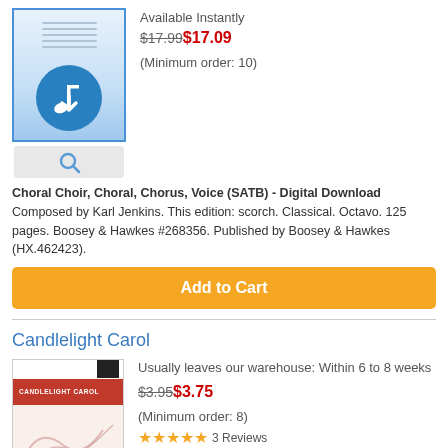[Figure (illustration): Digital download product thumbnail with blue border, sheet music icon and download arrow icon in blue circle]
Available Instantly
$17.99$17.09
(Minimum order: 10)
Choral Choir, Choral, Chorus, Voice (SATB) - Digital Download Composed by Karl Jenkins. This edition: scorch. Classical. Octavo. 125 pages. Boosey & Hawkes #268356. Published by Boosey & Hawkes (HX.462423).
Add to Cart
Candlelight Carol
[Figure (illustration): Book cover thumbnail for Candlelight Carol with red banner and handwritten signature]
Usually leaves our warehouse: Within 6 to 8 weeks
$3.95$3.75
(Minimum order: 8)
3 Reviews